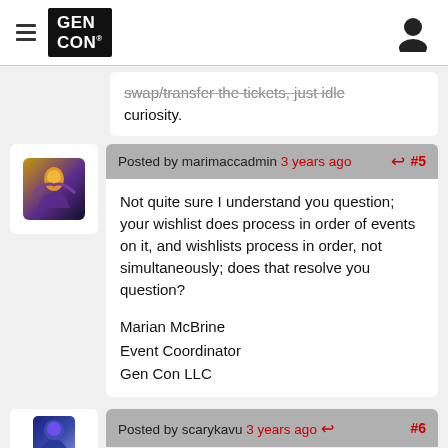GEN CON
swap/transfer the tickets, just idle curiosity.
Posted by marimaccadmin 3 years ago #5
Not quite sure I understand you question; your wishlist does process in order of events on it, and wishlists process in order, not simultaneously; does that resolve you question?

Marian McBrine
Event Coordinator
Gen Con LLC
Posted by scarykavu 3 years ago #6